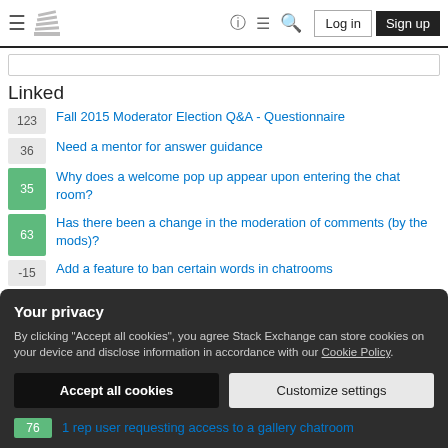Stack Exchange navigation bar with hamburger menu, logo, help, chat, search icons, Log in and Sign up buttons
Linked
123 Fall 2015 Moderator Election Q&A - Questionnaire
36 Need a mentor for answer guidance
35 Why does a welcome pop up appear upon entering the chat room?
63 Has there been a change in the moderation of comments (by the mods)?
-15 Add a feature to ban certain words in chatrooms
Your privacy
By clicking "Accept all cookies", you agree Stack Exchange can store cookies on your device and disclose information in accordance with our Cookie Policy.
76 1 rep user requesting access to a gallery chatroom